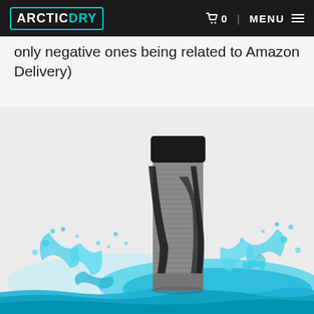ARCTIC DRY | 0 | MENU
only negative ones being related to Amazon Delivery)
[Figure (photo): A grey and black compression calf sleeve/leg sleeve product shown standing upright in a splash of turquoise/blue water on a light grey background.]